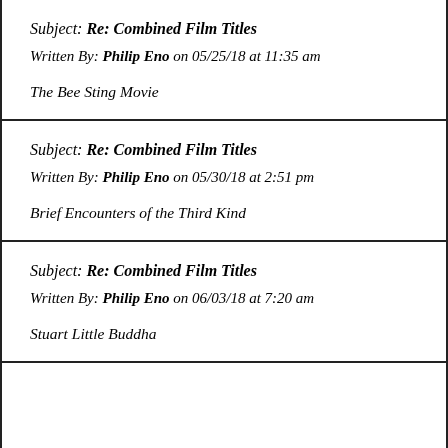Subject: Re: Combined Film Titles
Written By: Philip Eno on 05/25/18 at 11:35 am
The Bee Sting Movie
Subject: Re: Combined Film Titles
Written By: Philip Eno on 05/30/18 at 2:51 pm
Brief Encounters of the Third Kind
Subject: Re: Combined Film Titles
Written By: Philip Eno on 06/03/18 at 7:20 am
Stuart Little Buddha